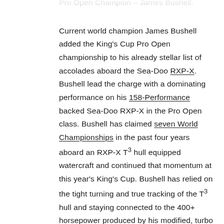Pro Open Champion – James Bushell.
Current world champion James Bushell added the King's Cup Pro Open championship to his already stellar list of accolades aboard the Sea-Doo RXP-X. Bushell lead the charge with a dominating performance on his 158-Performance backed Sea-Doo RXP-X in the Pro Open class. Bushell has claimed seven World Championships in the past four years aboard an RXP-X T3 hull equipped watercraft and continued that momentum at this year's King's Cup. Bushell has relied on the tight turning and true tracking of the T3 hull and staying connected to the 400+ horsepower produced by his modified, turbo powered Rotax 4-TEC engine tuned by the Sea-Doo Centre.
The Sea-Doo X-TEAM King's Cup podium finishers include.